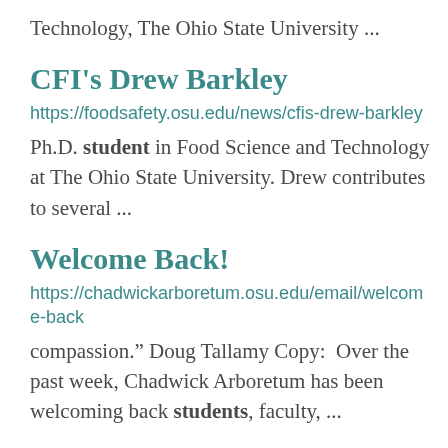Technology, The Ohio State University ...
CFI's Drew Barkley
https://foodsafety.osu.edu/news/cfis-drew-barkley
Ph.D. student in Food Science and Technology at The Ohio State University. Drew contributes to several ...
Welcome Back!
https://chadwickarboretum.osu.edu/email/welcome-back
compassion." Doug Tallamy Copy:  Over the past week, Chadwick Arboretum has been welcoming back students, faculty, ...